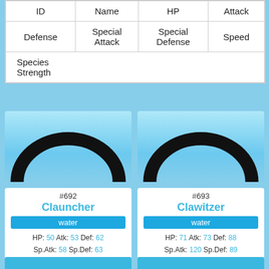| ID | Name | HP | Attack | Defense | Special Attack | Special Defense | Speed | Species Strength |
| --- | --- | --- | --- | --- | --- | --- | --- | --- |
[Figure (illustration): Two Pokemon silhouettes (Clauncher and Clawitzer) shown as dark rings/arches on a light blue gradient background]
#692 Clauncher water HP: 50 Atk: 53 Def: 62 Sp.Atk: 58 Sp.Def: 63 Speed: 44 Total: 330
#693 Clawitzer water HP: 71 Atk: 73 Def: 88 Sp.Atk: 120 Sp.Def: 89 Speed: 59 Total: 500